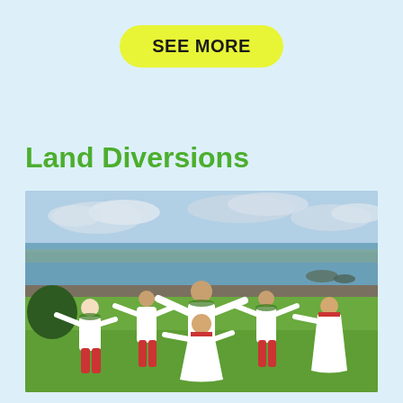SEE MORE
Land Diversions
[Figure (photo): Group of Hawaiian hula dancers in white traditional attire with red sashes and green leaf leis, performing outdoors on a grassy area with ocean and coastline in the background under a partly cloudy sky.]